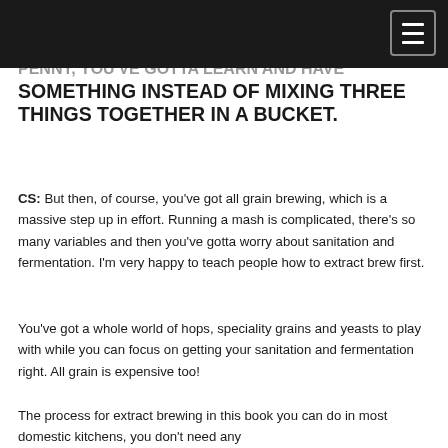PENNY, YOU'VE GOTTA LEARN AND HAVE SOMETHING INSTEAD OF MIXING THREE THINGS TOGETHER IN A BUCKET.
CS: But then, of course, you've got all grain brewing, which is a massive step up in effort. Running a mash is complicated, there's so many variables and then you've gotta worry about sanitation and fermentation. I'm very happy to teach people how to extract brew first.
You've got a whole world of hops, speciality grains and yeasts to play with while you can focus on getting your sanitation and fermentation right. All grain is expensive too!
The process for extract brewing in this book you can do in most domestic kitchens, you don't need any